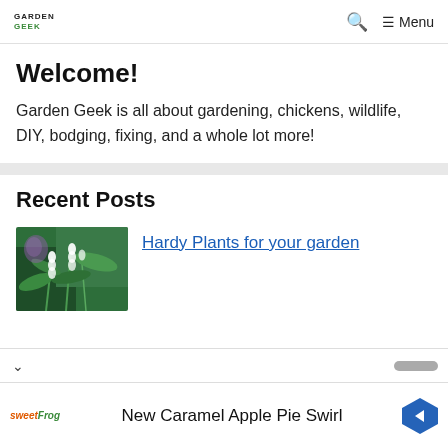Garden Geek — Search — Menu
Welcome!
Garden Geek is all about gardening, chickens, wildlife, DIY, bodging, fixing, and a whole lot more!
Recent Posts
[Figure (photo): Close-up photo of lily of the valley or similar small white bell-shaped flowers with green stems and leaves, with a blurred purple flower in background]
Hardy Plants for your garden
New Caramel Apple Pie Swirl